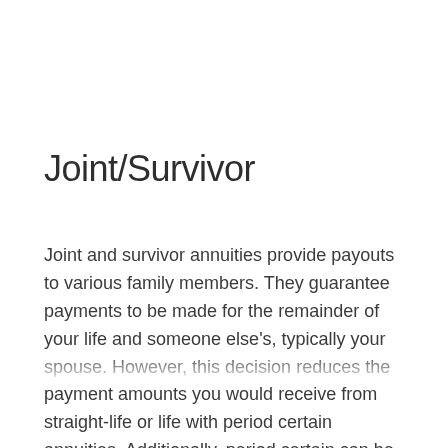Joint/Survivor
Joint and survivor annuities provide payouts to various family members. They guarantee payments to be made for the remainder of your life and someone else's, typically your spouse. However, this decision reduces the payment amounts you would receive from straight-life or life with period certain annuities. Additionally, period certain can be…